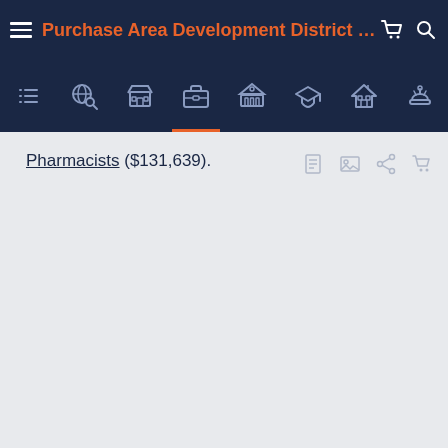Purchase Area Development District PUM...
Pharmacists ($131,639).